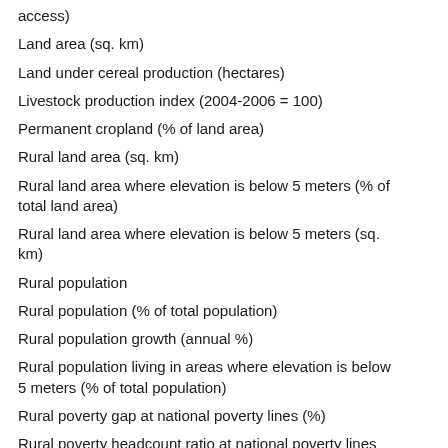access)
Land area (sq. km)
Land under cereal production (hectares)
Livestock production index (2004-2006 = 100)
Permanent cropland (% of land area)
Rural land area (sq. km)
Rural land area where elevation is below 5 meters (% of total land area)
Rural land area where elevation is below 5 meters (sq. km)
Rural population
Rural population (% of total population)
Rural population growth (annual %)
Rural population living in areas where elevation is below 5 meters (% of total population)
Rural poverty gap at national poverty lines (%)
Rural poverty headcount ratio at national poverty lines (% of rural population)